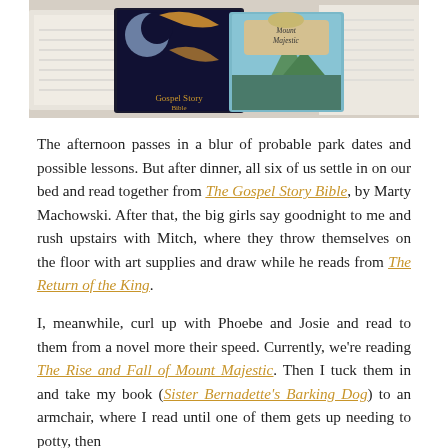[Figure (photo): Photo of books including The Gospel Story Bible and The Rise and Fall of Mount Majestic, spread on papers with drawings and notes.]
The afternoon passes in a blur of probable park dates and possible lessons. But after dinner, all six of us settle in on our bed and read together from The Gospel Story Bible, by Marty Machowski. After that, the big girls say goodnight to me and rush upstairs with Mitch, where they throw themselves on the floor with art supplies and draw while he reads from The Return of the King.
I, meanwhile, curl up with Phoebe and Josie and read to them from a novel more their speed. Currently, we're reading The Rise and Fall of Mount Majestic. Then I tuck them in and take my book (Sister Bernadette's Barking Dog) to an armchair, where I read until one of them gets up needing to potty, then